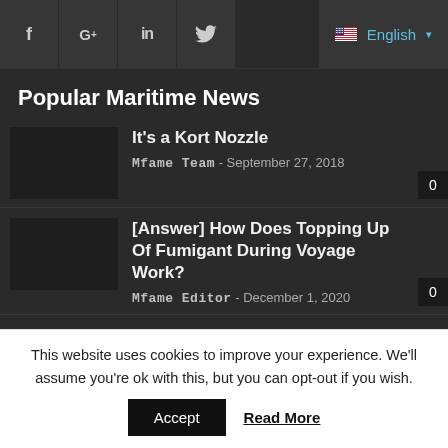f  G+  in  [twitter]  🇺🇸 English ▾
Popular Maritime News
It's a Kort Nozzle
Mfame Team - September 27, 2018
[Answer] How Does Topping Up Of Fumigant During Voyage Work?
Mfame Editor - December 1, 2020
This website uses cookies to improve your experience. We'll assume you're ok with this, but you can opt-out if you wish.
Accept  Read More